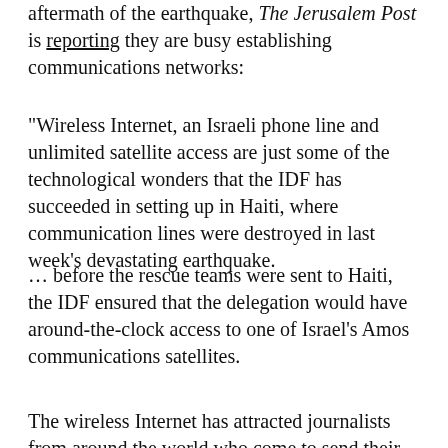aftermath of the earthquake, The Jerusalem Post is reporting they are busy establishing communications networks:
“Wireless Internet, an Israeli phone line and unlimited satellite access are just some of the technological wonders that the IDF has succeeded in setting up in Haiti, where communication lines were destroyed in last week’s devastating earthquake.
… before the rescue teams were sent to Haiti, the IDF ensured that the delegation would have around-the-clock access to one of Israel’s Amos communications satellites.
The wireless Internet has attracted journalists from around the world who come to send their materials